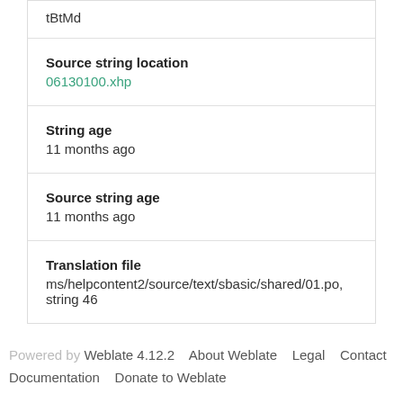tBtMd
Source string location
06130100.xhp
String age
11 months ago
Source string age
11 months ago
Translation file
ms/helpcontent2/source/text/sbasic/shared/01.po, string 46
Powered by Weblate 4.12.2   About Weblate   Legal   Contact   Documentation   Donate to Weblate